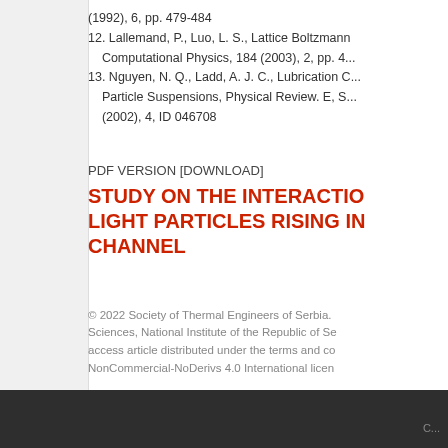(1992), 6, pp. 479-484
12. Lallemand, P., Luo, L. S., Lattice Boltzmann... Computational Physics, 184 (2003), 2, pp. 4...
13. Nguyen, N. Q., Ladd, A. J. C., Lubrication C... Particle Suspensions, Physical Review. E, S... (2002), 4, ID 046708
PDF VERSION [DOWNLOAD]
STUDY ON THE INTERACTIO LIGHT PARTICLES RISING IN CHANNEL
© 2022 Society of Thermal Engineers of Serbia. Sciences, National Institute of the Republic of Se access article distributed under the terms and co NonCommercial-NoDerivs 4.0 International licen